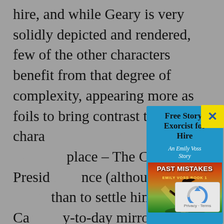hire, and while Geary is very solidly depicted and rendered, few of the other characters benefit from that degree of complexity, appearing more as foils to bring contrast to Geary's chara… n their own right. Each ch… place – The Co-Presid… nce (although she… than to settle him), Ca… y-to-day mirror, Duell… t, remaining at t… y single captain's conf… encourage him, Numos r… on within the fleet, blin… ng anyth… that he says o… ways be relied upon to… most
[Figure (screenshot): A popup overlay on a webpage showing a promotional offer for a free story titled 'Free Story: Exorcist for Hire - An Emily Voss Story', with a book cover image for 'Past Mistakes - Emily Voss Book 1' showing a silhouette of a woman against a dramatic sky. A yellow close button with an X is in the top right of the popup. A reCAPTCHA widget is visible in the bottom right corner.]